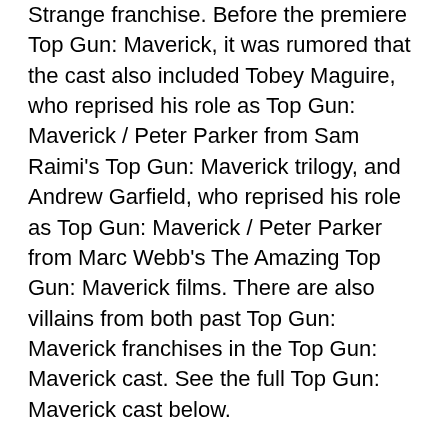Strange franchise. Before the premiere Top Gun: Maverick, it was rumored that the cast also included Tobey Maguire, who reprised his role as Top Gun: Maverick / Peter Parker from Sam Raimi's Top Gun: Maverick trilogy, and Andrew Garfield, who reprised his role as Top Gun: Maverick / Peter Parker from Marc Webb's The Amazing Top Gun: Maverick films. There are also villains from both past Top Gun: Maverick franchises in the Top Gun: Maverick cast. See the full Top Gun: Maverick cast below.
https://www.sixdegrees.org/profile/top-gun-maverick-movie-download-710p-480p-and-1080p/profilehttps://www.quantockhills.com/profile/123movies-top-gun-maverick/profilehttps://www.endometriosisaustralia.org/profile/watch-top-gun-maverick-free-online-streaming-at-home/profilehttps://www.cityofnewiberia.com/profile/top-gun-maverick-2022-online-